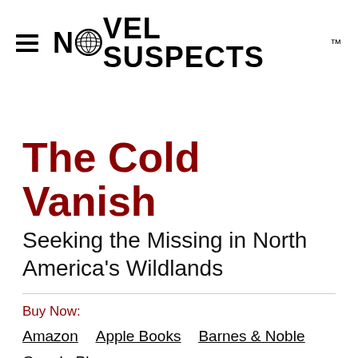NOVEL SUSPECTS™
The Cold Vanish
Seeking the Missing in North America's Wildlands
Buy Now:
Amazon
Apple Books
Barnes & Noble
Google Play
Ebooks.com
Kobo